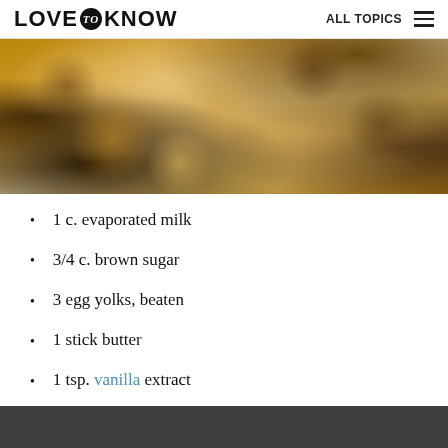LOVE to KNOW   ALL TOPICS
[Figure (photo): Close-up photo of granola bars or clusters with oats, nuts, and caramel on parchment paper with pink stripes]
1 c. evaporated milk
3/4 c. brown sugar
3 egg yolks, beaten
1 stick butter
1 tsp. vanilla extract